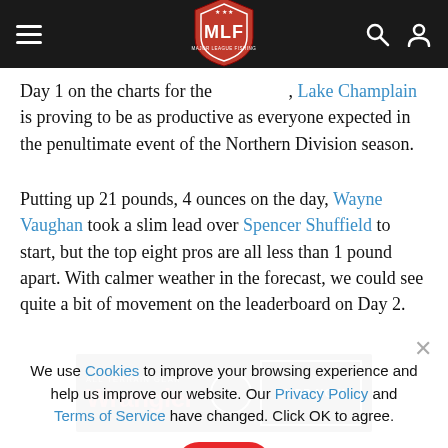MLF Major League Fishing navigation bar with hamburger menu, MLF shield logo, search and user icons
Day 1 on the charts for the [MLF], Lake Champlain is proving to be as productive as everyone expected in the penultimate event of the Northern Division season.
Putting up 21 pounds, 4 ounces on the day, Wayne Vaughan took a slim lead over Spencer Shuffield to start, but the top eight pros are all less than 1 pound apart. With calmer weather in the forecast, we could see quite a bit of movement on the leaderboard on Day 2.
We use Cookies to improve your browsing experience and help us improve our website. Our Privacy Policy and Terms of Service have changed. Click OK to agree.
[Figure (screenshot): Wrangler All Terrain Gear advertisement banner with ATG logo and SHOP NOW button on dark background]